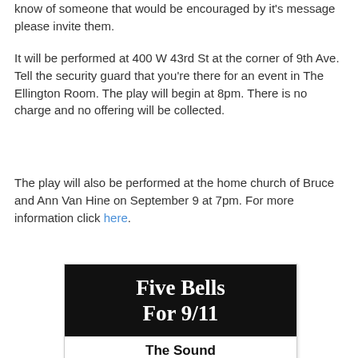know of someone that would be encouraged by it's message please invite them.
It will be performed at 400 W 43rd St at the corner of 9th Ave. Tell the security guard that you're there for an event in The Ellington Room. The play will begin at 8pm. There is no charge and no offering will be collected.
The play will also be performed at the home church of Bruce and Ann Van Hine on September 9 at 7pm. For more information click here.
[Figure (illustration): Poster for 'Five Bells For 9/11: The Sound of Freedom' - A one-man play written and performed. Black top section with white serif title text, white bottom with bold subtitle, horizontal rule, italic tagline text, and a small dark image of a cross.]